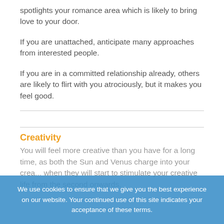spotlights your romance area which is likely to bring love to your door.
If you are unattached, anticipate many approaches from interested people.
If you are in a committed relationship already, others are likely to flirt with you atrociously, but it makes you feel good.
Creativity
You will feel more creative than you have for a long time, as both the Sun and Venus charge into your crea... when they will start to stimulate your creative life from the second onwards.
We use cookies to ensure that we give you the best experience on our website. Your continued use of this site indicates your acceptance of these terms.